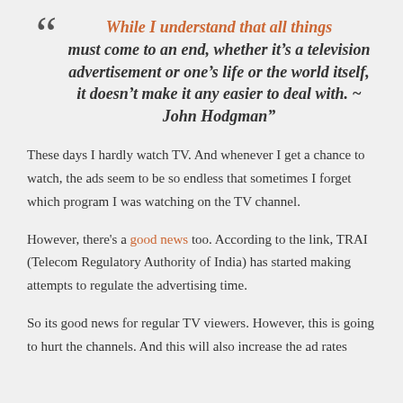“While I understand that all things must come to an end, whether it’s a television advertisement or one’s life or the world itself, it doesn’t make it any easier to deal with. ~ John Hodgman”
These days I hardly watch TV. And whenever I get a chance to watch, the ads seem to be so endless that sometimes I forget which program I was watching on the TV channel.
However, there's a good news too. According to the link, TRAI (Telecom Regulatory Authority of India) has started making attempts to regulate the advertising time.
So its good news for regular TV viewers. However, this is going to hurt the channels. And this will also increase the ad rates